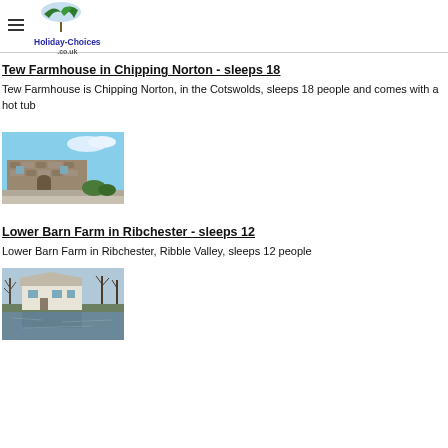Holiday-Choices.co.uk
Tew Farmhouse in Chipping Norton - sleeps 18
Tew Farmhouse is Chipping Norton, in the Cotswolds, sleeps 18 people and comes with a hot tub
[Figure (photo): Exterior photo of Tew Farmhouse, a stone building with wall and shrubs]
Lower Barn Farm in Ribchester - sleeps 12
Lower Barn Farm in Ribchester, Ribble Valley, sleeps 12 people
[Figure (photo): Photo of Lower Barn Farm reflected in water, surrounded by trees]